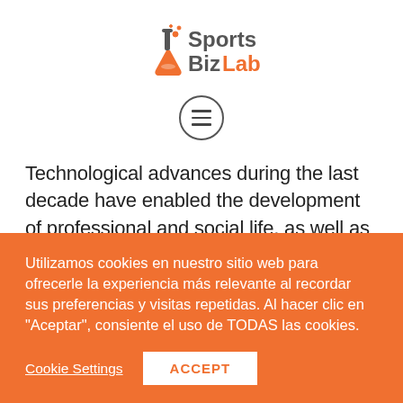[Figure (logo): SportsBizLab logo with orange and gray text and a laboratory flask icon]
[Figure (other): Hamburger menu icon inside a circle]
Technological advances during the last decade have enabled the development of professional and social life, as well as everything related to leisure and recreational activities. Sports have also benefited from the incorporation of new
Utilizamos cookies en nuestro sitio web para ofrecerle la experiencia más relevante al recordar sus preferencias y visitas repetidas. Al hacer clic en "Aceptar", consiente el uso de TODAS las cookies.
Cookie Settings
ACCEPT